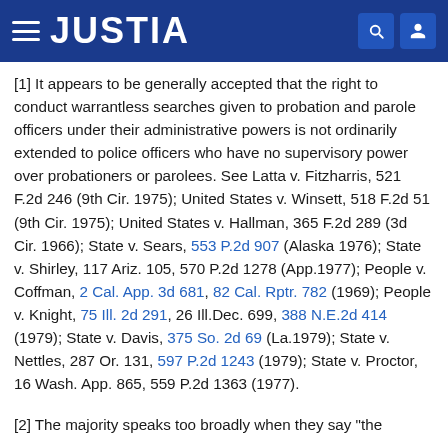JUSTIA
[1] It appears to be generally accepted that the right to conduct warrantless searches given to probation and parole officers under their administrative powers is not ordinarily extended to police officers who have no supervisory power over probationers or parolees. See Latta v. Fitzharris, 521 F.2d 246 (9th Cir. 1975); United States v. Winsett, 518 F.2d 51 (9th Cir. 1975); United States v. Hallman, 365 F.2d 289 (3d Cir. 1966); State v. Sears, 553 P.2d 907 (Alaska 1976); State v. Shirley, 117 Ariz. 105, 570 P.2d 1278 (App.1977); People v. Coffman, 2 Cal. App. 3d 681, 82 Cal. Rptr. 782 (1969); People v. Knight, 75 Ill. 2d 291, 26 Ill.Dec. 699, 388 N.E.2d 414 (1979); State v. Davis, 375 So. 2d 69 (La.1979); State v. Nettles, 287 Or. 131, 597 P.2d 1243 (1979); State v. Proctor, 16 Wash. App. 865, 559 P.2d 1363 (1977).
[2] The majority speaks too broadly when they say "the